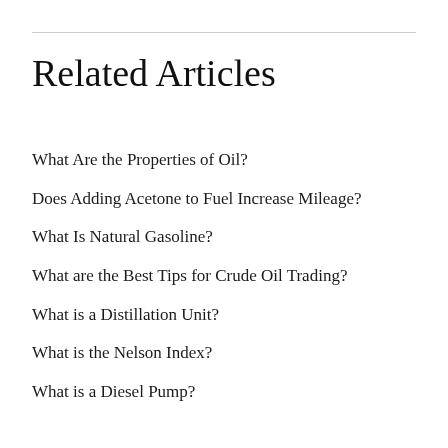Related Articles
What Are the Properties of Oil?
Does Adding Acetone to Fuel Increase Mileage?
What Is Natural Gasoline?
What are the Best Tips for Crude Oil Trading?
What is a Distillation Unit?
What is the Nelson Index?
What is a Diesel Pump?